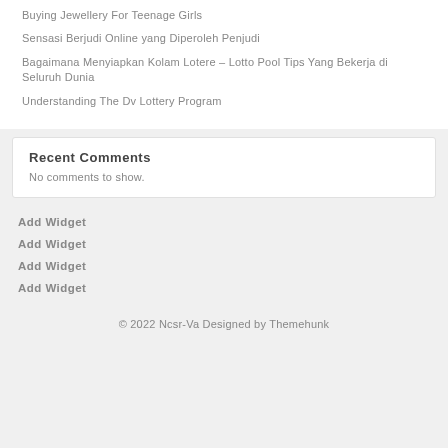Buying Jewellery For Teenage Girls
Sensasi Berjudi Online yang Diperoleh Penjudi
Bagaimana Menyiapkan Kolam Lotere – Lotto Pool Tips Yang Bekerja di Seluruh Dunia
Understanding The Dv Lottery Program
Recent Comments
No comments to show.
Add Widget
Add Widget
Add Widget
Add Widget
© 2022 Ncsr-Va Designed by Themehunk